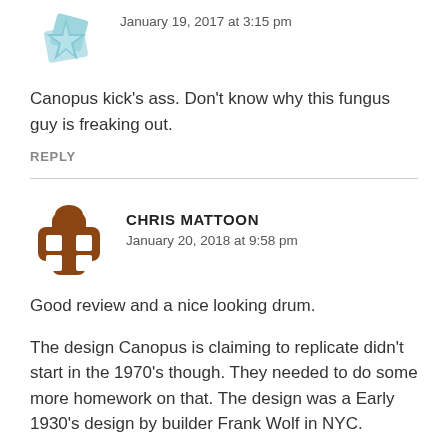[Figure (illustration): Decorative snowflake/geometric avatar icon in light blue color]
January 19, 2017 at 3:15 pm
Canopus kick's ass. Don't know why this fungus guy is freaking out.
REPLY
[Figure (illustration): Brown cross/plus shaped avatar icon with white square cutouts]
CHRIS MATTOON
January 20, 2018 at 9:58 pm
Good review and a nice looking drum.
The design Canopus is claiming to replicate didn't start in the 1970's though. They needed to do some more homework on that. The design was a Early 1930's design by builder Frank Wolf in NYC.